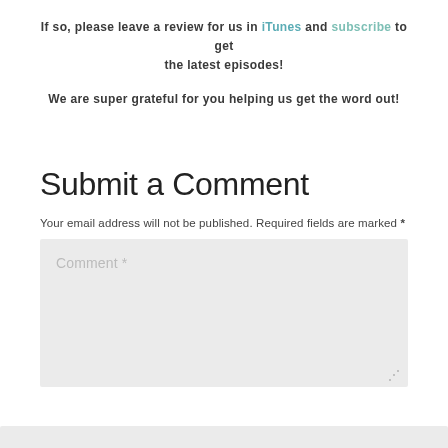If so, please leave a review for us in iTunes and subscribe to get the latest episodes!
We are super grateful for you helping us get the word out!
Submit a Comment
Your email address will not be published. Required fields are marked *
Comment *